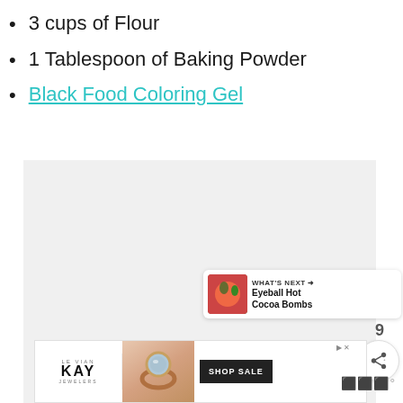3 cups of Flour
1 Tablespoon of Baking Powder
Black Food Coloring Gel
[Figure (other): Light gray placeholder image area for recipe content]
[Figure (other): WHAT'S NEXT panel showing Eyeball Hot Cocoa Bombs with thumbnail]
[Figure (other): Le Vian Kay Jewelers advertisement banner with ring image and SHOP SALE button]